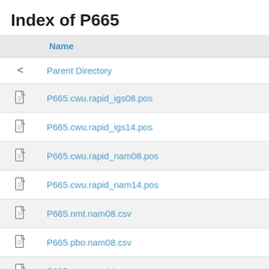Index of P665
|  | Name |
| --- | --- |
| < | Parent Directory |
| [file] | P665.cwu.rapid_igs08.pos |
| [file] | P665.cwu.rapid_igs14.pos |
| [file] | P665.cwu.rapid_nam08.pos |
| [file] | P665.cwu.rapid_nam14.pos |
| [file] | P665.nmt.nam08.csv |
| [file] | P665.pbo.nam08.csv |
| [file] | P665.nmt.nam14.csv |
| [file] | P665.pbo.nam14.csv |